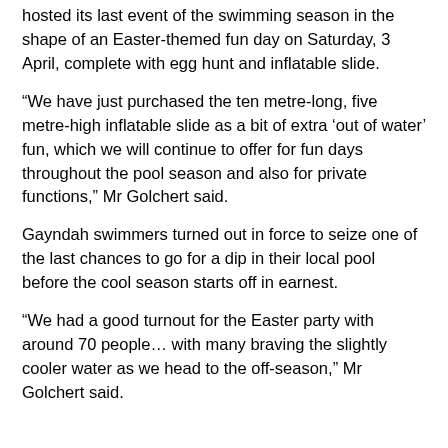hosted its last event of the swimming season in the shape of an Easter-themed fun day on Saturday, 3 April, complete with egg hunt and inflatable slide.
“We have just purchased the ten metre-long, five metre-high inflatable slide as a bit of extra ‘out of water’ fun, which we will continue to offer for fun days throughout the pool season and also for private functions,” Mr Golchert said.
Gayndah swimmers turned out in force to seize one of the last chances to go for a dip in their local pool before the cool season starts off in earnest.
“We had a good turnout for the Easter party with around 70 people… with many braving the slightly cooler water as we head to the off-season,” Mr Golchert said.